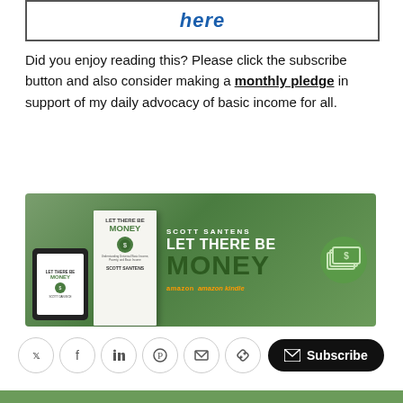[Figure (other): Box with italic bold blue text 'here' in a bordered rectangle]
Did you enjoy reading this? Please click the subscribe button and also consider making a monthly pledge in support of my daily advocacy of basic income for all.
[Figure (illustration): Book advertisement banner for 'Let There Be Money' by Scott Santens, showing tablet and book images on green background with Amazon and Amazon Kindle store logos]
[Figure (other): Social sharing icons row (Twitter, Facebook, LinkedIn, Pinterest, Email, link) and a Subscribe button]